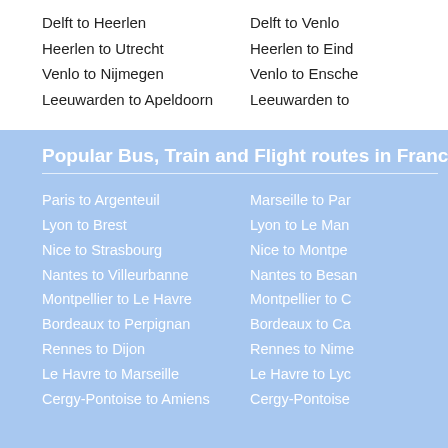Delft to Heerlen
Heerlen to Utrecht
Venlo to Nijmegen
Leeuwarden to Apeldoorn
Delft to Venlo
Heerlen to Eind
Venlo to Ensche
Leeuwarden to
Popular Bus, Train and Flight routes in Franc
Paris to Argenteuil
Lyon to Brest
Nice to Strasbourg
Nantes to Villeurbanne
Montpellier to Le Havre
Bordeaux to Perpignan
Rennes to Dijon
Le Havre to Marseille
Cergy-Pontoise to Amiens
Marseille to Par
Lyon to Le Man
Nice to Montpe
Nantes to Besan
Montpellier to C
Bordeaux to Ca
Rennes to Nime
Le Havre to Lyc
Cergy-Pontoise